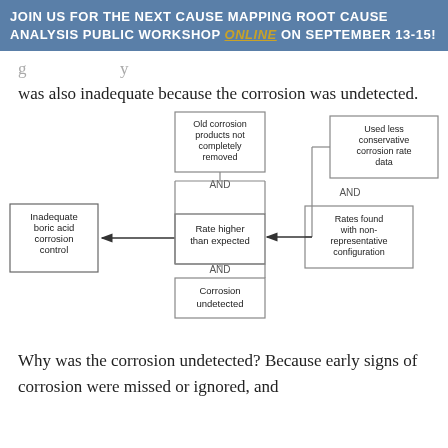JOIN US FOR THE NEXT CAUSE MAPPING ROOT CAUSE ANALYSIS PUBLIC WORKSHOP ONLINE ON SEPTEMBER 13-15!
was also inadequate because the corrosion was undetected.
[Figure (flowchart): Flowchart showing causes of inadequate boric acid corrosion control. Left box: 'Inadequate boric acid corrosion control' connects via arrow to center box 'Rate higher than expected'. Above center: 'Old corrosion products not completely removed' connected with AND. Below center: 'Corrosion undetected' connected with AND. Right side: 'Used less conservative corrosion rate data' AND 'Rates found with non-representative configuration' both feed into center box.]
Why was the corrosion undetected? Because early signs of corrosion were missed or ignored, and